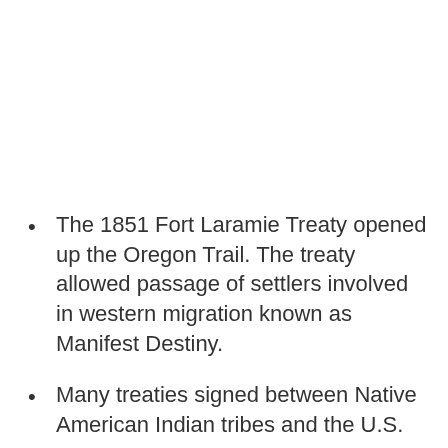The 1851 Fort Laramie Treaty opened up the Oregon Trail. The treaty allowed passage of settlers involved in western migration known as Manifest Destiny.
Many treaties signed between Native American Indian tribes and the U.S.